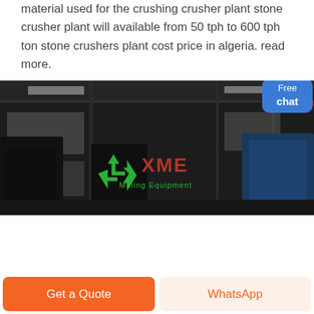material used for the crushing crusher plant stone crusher plant will available from 50 tph to 600 tph ton stone crushers plant cost price in algeria. read more.
[Figure (photo): Dark industrial factory interior showing heavy machinery and equipment with XME Mining Equipment logo and recycling symbol overlaid in green and red text]
Get a Quote
WhatsApp